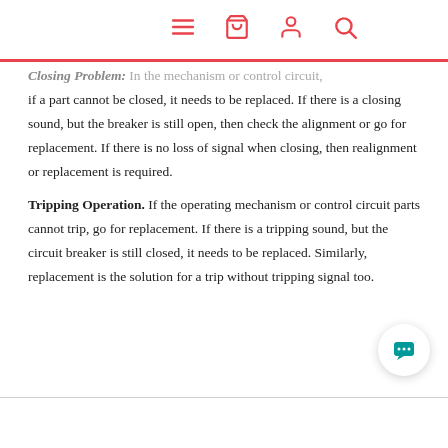[navigation icons: menu, basket, user, search]
Closing Problem. In the mechanism or control circuit, if a part cannot be closed, it needs to be replaced. If there is a closing sound, but the breaker is still open, then check the alignment or go for replacement. If there is no loss of signal when closing, then realignment or replacement is required.
Tripping Operation. If the operating mechanism or control circuit parts cannot trip, go for replacement. If there is a tripping sound, but the circuit breaker is still closed, it needs to be replaced. Similarly, replacement is the solution for a trip without tripping signal too.